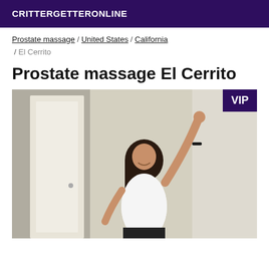CRITTERGETTERONLINE
Prostate massage / United States / California / El Cerrito
Prostate massage El Cerrito
[Figure (photo): A woman with dark hair wearing a white tank top, posing in a doorway with one arm raised, smiling. VIP badge in top-right corner.]